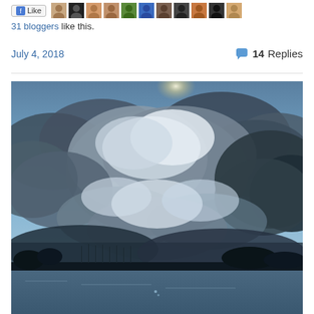[Figure (photo): Row of small blogger avatar photos with a Like button on the left]
31 bloggers like this.
July 4, 2018
14 Replies
[Figure (photo): Dramatic landscape photograph of a stormy sky with large cumulus clouds over a lake with a silhouetted shoreline and sailboat masts in the background]